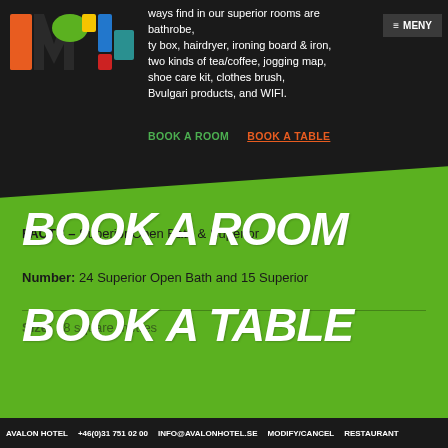[Figure (logo): Avalon Hotel logo with colorful stylized letters in orange, dark, green, yellow, and blue on a dark background]
ways find in our superior rooms are bathrobe, ty box, hairdryer, ironing board & iron, extra two kinds of tea/coffee, jogging map, shoe care kit, clothes brush, Bvulgari products, and WIFI.
BOOK A ROOM   BOOK A TABLE
BOOK A ROOM
BOOK A TABLE
FACTS – Superior Open Bath & Superior
Number: 24 Superior Open Bath and 15 Superior
Size: 28 square metres
AVALON HOTEL   +46(0)31 751 02 00   INFO@AVALONHOTEL.SE   MODIFY/CANCEL   RESTAURANT